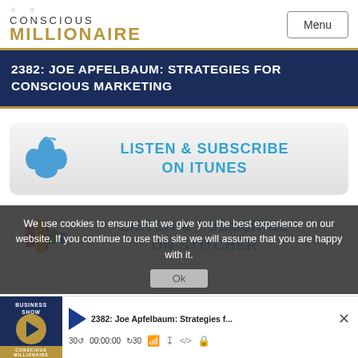CONSCIOUS MILLIONAIRE — Menu
2382: JOE APFELBAUM: STRATEGIES FOR CONSCIOUS MARKETING
[Figure (screenshot): Listen & Subscribe on iTunes button with Apple logo icon]
[Figure (screenshot): Listen & Subscribe on Stitcher button with Stitcher logo icon]
We use cookies to ensure that we give you the best experience on our website. If you continue to use this site we will assume that you are happy with it.
[Figure (screenshot): Audio player bar showing: 2382: Joe Apfelbaum: Strategies f... with play button, 30s back, 00:00:00, forward 30s, and other controls]